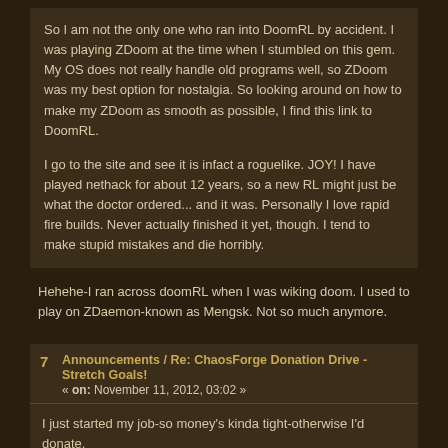So I am not the only one who ran into DoomRL by accident. I was playing ZDoom at the time when I stumbled on this gem. My OS does not really handle old programs well, so ZDoom was my best option for nostalgia. So looking around on how to make my ZDoom as smooth as possible, I find this link to DoomRL.
I go to the site and see it is infact a roguelike. JOY! I have played nethack for about 12 years, so a new RL might just be what the doctor ordered... and it was. Personally I love rapid fire builds. Never actually finished it yet, though. I tend to make stupid mistakes and die horribly.
Hehehe-I ran across doomRL when I was wiking doom. I used to play on ZDaemon-known as Mengsk. Not so much anymore.
7 Announcements / Re: ChaosForge Donation Drive - Stretch Goals! « on: November 11, 2012, 03:02 »
I just started my job-so money's kinda tight-otherwise I'd donate.
8 Play-By-Forum / Re: Wasteland Mechanic Ideas « on: August 28, 2012, 09:42 »